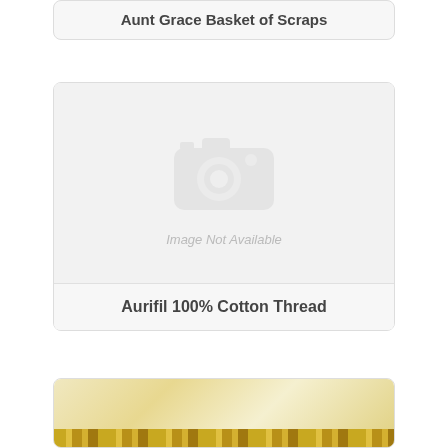Aunt Grace Basket of Scraps
[Figure (photo): Image Not Available placeholder with camera icon]
Aurifil 100% Cotton Thread
[Figure (photo): Partial product image showing decorative thread or fabric pattern at bottom of page]